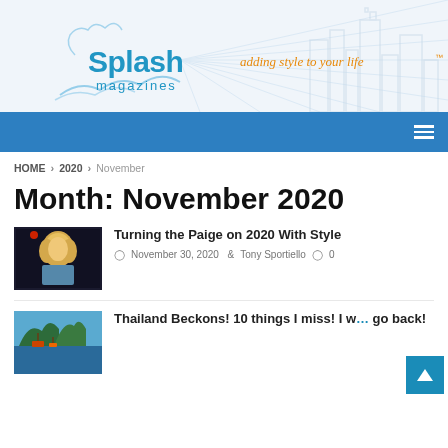[Figure (logo): Splash Magazines logo with tagline 'adding style to your life' and city skyline illustration]
Navigation bar with hamburger menu
HOME > 2020 > November
Month: November 2020
[Figure (photo): Thumbnail of a woman with blonde hair]
Turning the Paige on 2020 With Style
November 30, 2020  Tony Sportiello  0
[Figure (photo): Thumbnail of Thailand coastal scenery with boats]
Thailand Beckons! 10 things I miss! I want to go back!